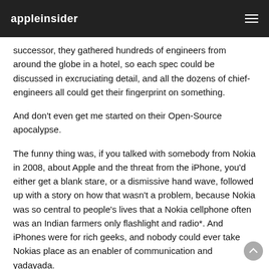appleinsider
successor, they gathered hundreds of engineers from around the globe in a hotel, so each spec could be discussed in excruciating detail, and all the dozens of chief-engineers all could get their fingerprint on something.
And don't even get me started on their Open-Source apocalypse.
The funny thing was, if you talked with somebody from Nokia in 2008, about Apple and the threat from the iPhone, you'd either get a blank stare, or a dismissive hand wave, followed up with a story on how that wasn't a problem, because Nokia was so central to people's lives that a Nokia cellphone often was an Indian farmers only flashlight and radio*. And iPhones were for rich geeks, and nobody could ever take Nokias place as an enabler of communication and yadayada.
*That same Indian farmer, or it could have been a handful of farmers, was also the reason why Nokia was so late with making their own modern iPhone equivalent. (One of many